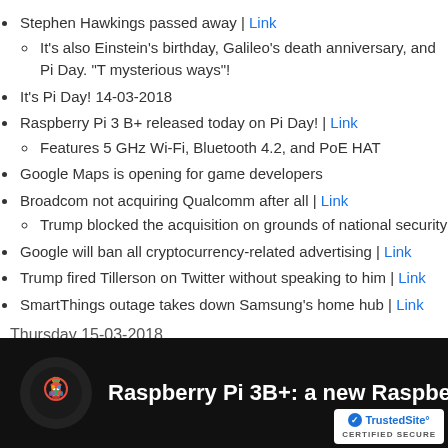Stephen Hawkings passed away | Link
It's also Einstein's birthday, Galileo's death anniversary, and Pi Day. "T mysterious ways"!
It's Pi Day! 14-03-2018
Raspberry Pi 3 B+ released today on Pi Day! | Link
Features 5 GHz Wi-Fi, Bluetooth 4.2, and PoE HAT
Google Maps is opening for game developers
Broadcom not acquiring Qualcomm after all | Link
Trump blocked the acquisition on grounds of national security
Google will ban all cryptocurrency-related advertising | Link
Trump fired Tillerson on Twitter without speaking to him | Link
SmartThings outage takes down Samsung's home hub | Link
Thursday 15-03-2018
Theranos founder Elizabeth Holmes charged with $700m fraud – BBC Ne
Nest's video doorbell is now shipping | Link
[Figure (screenshot): Video thumbnail bar with Raspberry Pi logo and title 'Raspberry Pi 3B+: a new Raspberry Pi for Pi Da' on black background, with TrustedSite certified secure badge.]